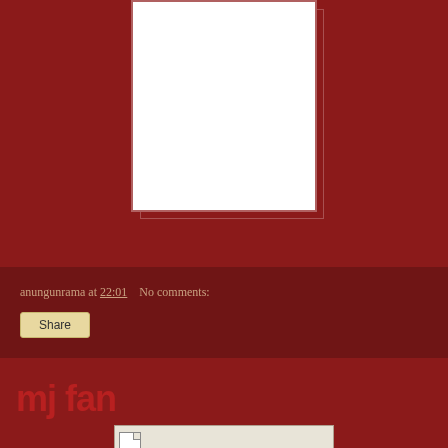[Figure (photo): White rectangular image area with border, partially visible at top of page]
anungunrama at 22:01    No comments:
Share
mj fan
[Figure (screenshot): Partial bottom image with document icon, partially cut off at bottom of page]